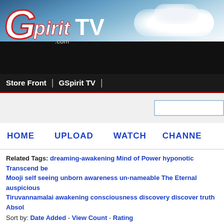[Figure (screenshot): GSpirit TV website header banner with logo showing stylized G letter with 'pirit TV .com' text on a city skyline and sky background]
Store Front  |  GSpirit TV  |
[Figure (screenshot): Search input box, partially visible on right side]
HOME   UPLOAD   WATCH   CHANNEL
Related Tags: dreaming-awakening Mind of Power hyponotic Transcend be Mooji self seeing unborn awareness un-nameable The Eternal auspicious Tiruvannamalai awakening consciousness discovery discover truth Absol
Sort by: Date Added - View Count - Rating
Videos with tag opportunity
[Figure (screenshot): Three video thumbnails in a row at bottom of page]